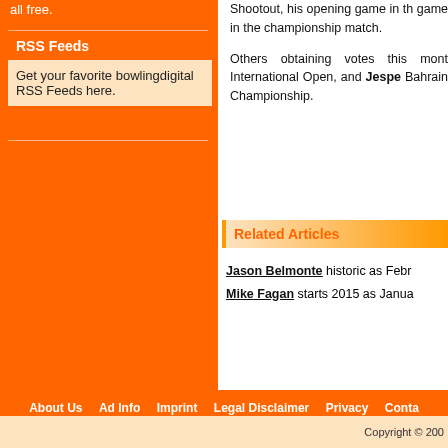all free.
RSS Feeds
Get your favorite bowlingdigital RSS Feeds here.
Shootout, his opening game in the game in the championship match.

Others obtaining votes this month International Open, and Jespe Bahrain Championship.
Related Articles
Jason Belmonte historic as Febr Mike Fagan starts 2015 as Janua
About Us   Ad Info   Imprint   Legal Disclaimer   Privacy   Conta
Copyright © 200